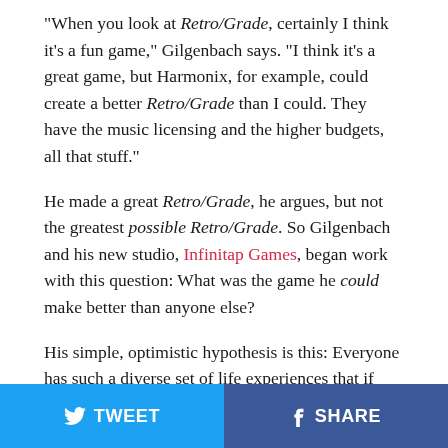"When you look at Retro/Grade, certainly I think it's a fun game," Gilgenbach says. "I think it's a great game, but Harmonix, for example, could create a better Retro/Grade than I could. They have the music licensing and the higher budgets, all that stuff."
He made a great Retro/Grade, he argues, but not the greatest possible Retro/Grade. So Gilgenbach and his new studio, Infinitap Games, began work with this question: What was the game he could make better than anyone else?
His simple, optimistic hypothesis is this: Everyone has such a diverse set of life experiences that if they could draw them all into one single creation, it would be the one thing they would be the best suited to make in all the world.
For Gilgenbach, that game is Neverending Nightmares, a dark tapestry of psychological horror woven from threads of his own struggle with mental health.
TWEET   SHARE